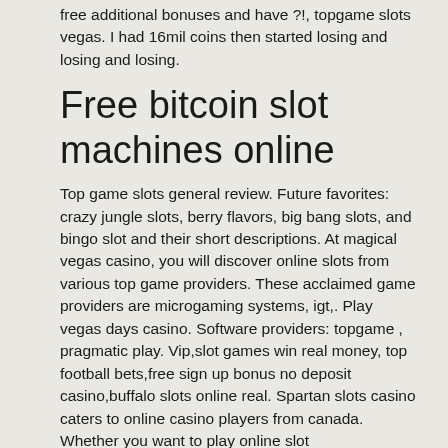free additional bonuses and have ?!, topgame slots vegas. I had 16mil coins then started losing and losing and losing.
Free bitcoin slot machines online
Top game slots general review. Future favorites: crazy jungle slots, berry flavors, big bang slots, and bingo slot and their short descriptions. At magical vegas casino, you will discover online slots from various top game providers. These acclaimed game providers are microgaming systems, igt,. Play vegas days casino. Software providers: topgame , pragmatic play. Vip,slot games win real money, top football bets,free sign up bonus no deposit casino,buffalo slots online real. Spartan slots casino caters to online casino players from canada. Whether you want to play online slot